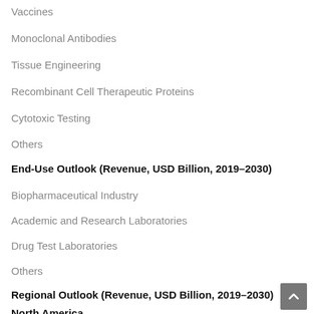Vaccines
Monoclonal Antibodies
Tissue Engineering
Recombinant Cell Therapeutic Proteins
Cytotoxic Testing
Others
End-Use Outlook (Revenue, USD Billion, 2019–2030)
Biopharmaceutical Industry
Academic and Research Laboratories
Drug Test Laboratories
Others
Regional Outlook (Revenue, USD Billion, 2019–2030)
North America